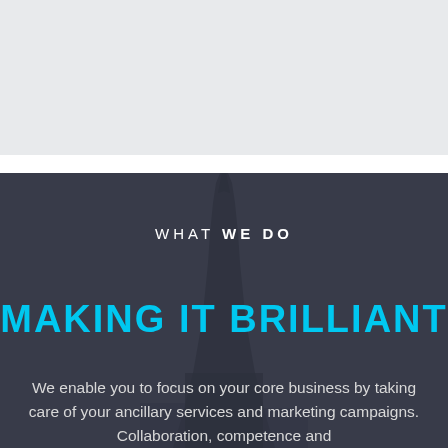[Figure (photo): Dark-toned background section showing a city building/skyscraper spire against a dark grayish-blue overlay, used as background for the dark section of the page.]
WHAT WE DO
MAKING IT BRILLIANT
We enable you to focus on your core business by taking care of your ancillary services and marketing campaigns. Collaboration, competence and